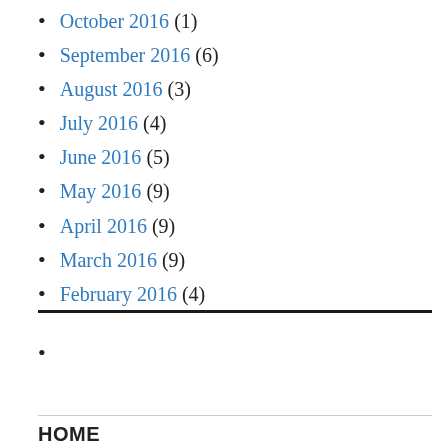October 2016 (1)
September 2016 (6)
August 2016 (3)
July 2016 (4)
June 2016 (5)
May 2016 (9)
April 2016 (9)
March 2016 (9)
February 2016 (4)
HOME